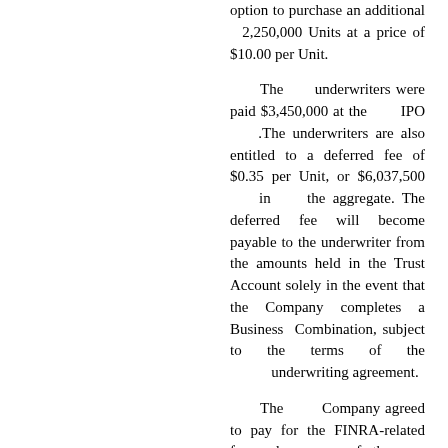option to purchase an additional 2,250,000 Units at a price of $10.00 per Unit.
The underwriters were paid $3,450,000 at the IPO .The underwriters are also entitled to a deferred fee of $0.35 per Unit, or $6,037,500 in the aggregate. The deferred fee will become payable to the underwriter from the amounts held in the Trust Account solely in the event that the Company completes a Business Combination, subject to the terms of the underwriting agreement.
The Company agreed to pay for the FINRA-related fees and expenses of the